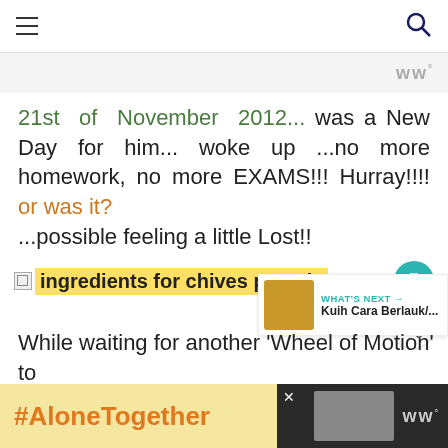☰ [menu icon] | [search icon]
21st of November 2012... was a New Day for him... woke up ...no more homework, no more EXAMS!!! Hurray!!!! or was it? ...possible feeling a little Lost!!
[Figure (other): Broken image icon followed by bold text 'ingredients for chives parcels' highlighted in yellow, with teal heart button]
While waiting for another 'Wheel of Motion' to
#AloneTogether [advertisement banner]